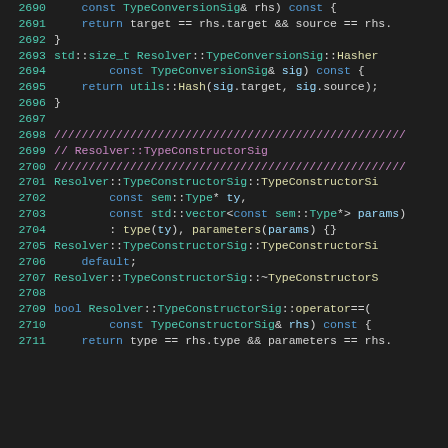[Figure (screenshot): Source code listing showing C++ code for Resolver::TypeConversionSig and Resolver::TypeConstructorSig classes, with line numbers 2690-2711, displayed in a dark-themed code editor.]